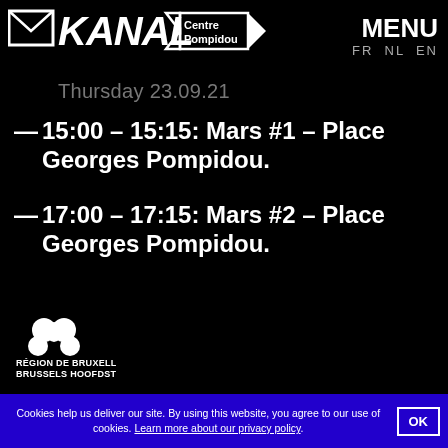KANAL Centre Pompidou | MENU FR NL EN
Thursday 23.09.21
15:00 – 15:15: Mars #1 – Place Georges Pompidou.
17:00 – 17:15: Mars #2 – Place Georges Pompidou.
[Figure (logo): Région de Bruxelles-Capitale / Brussels Hoofdstedelijk Gewest logo with heart/flower icon]
Cookies help us deliver our site. By using this website, you agree to our use of cookies. Learn more about our privacy policy. OK